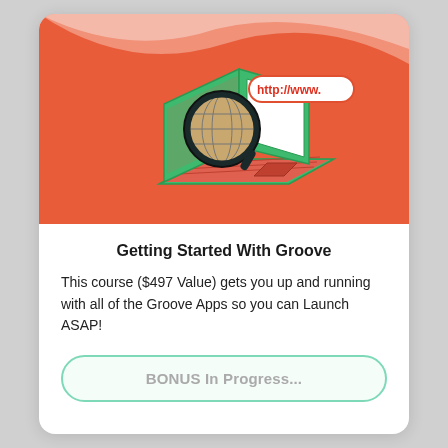[Figure (illustration): Isometric illustration of a green laptop with a globe/search icon and a URL bar showing 'http://www.' on a red and light pink wavy background]
Getting Started With Groove
This course ($497 Value) gets you up and running with all of the Groove Apps so you can Launch ASAP!
BONUS In Progress...